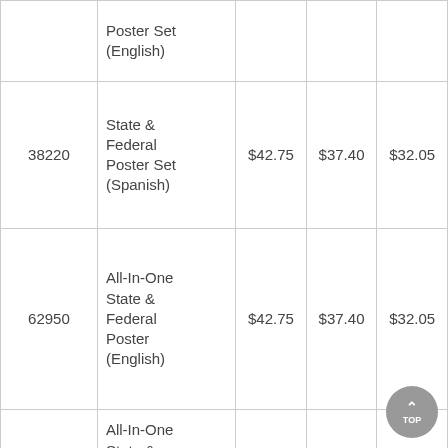| Item # | Description | 1-2 | 3-5 | 6+ |
| --- | --- | --- | --- | --- |
|  | Poster Set (English) |  |  |  |
| 38220 | State & Federal Poster Set (Spanish) | $42.75 | $37.40 | $32.05 |
| 62950 | All-In-One State & Federal Poster (English) | $42.75 | $37.40 | $32.05 |
| 62951 | All-In-One State & Federal Poster (Spanish) | $42.75 | $37.40 | $32.05 |